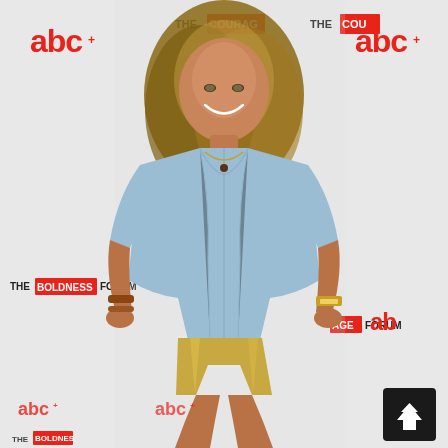[Figure (photo): A woman with long brunette/blonde highlighted hair wearing a light blue button-down shirt and gold metallic shorts, posing and smiling at a step-and-repeat media backdrop featuring repeated logos for 'abc' (in red) and 'THE COURAGE FORUM' (text). She accessorizes with a necklace, bracelets, and a watch. A dark scroll-to-top button with an upward arrow is visible in the lower right corner.]